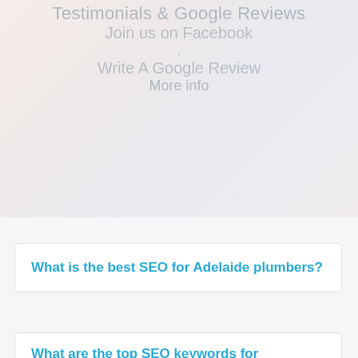Testimonials & Google Reviews
Join us on Facebook
.
Write A Google Review
More info
What is the best SEO for Adelaide plumbers?
What are the top SEO keywords for